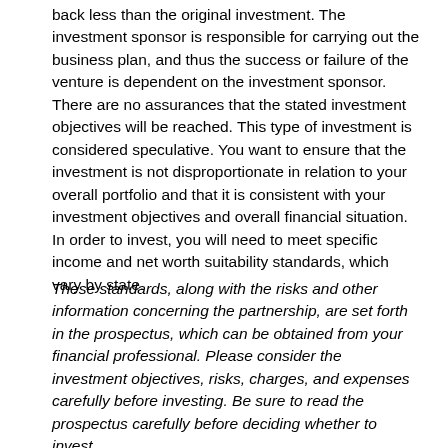back less than the original investment. The investment sponsor is responsible for carrying out the business plan, and thus the success or failure of the venture is dependent on the investment sponsor. There are no assurances that the stated investment objectives will be reached. This type of investment is considered speculative. You want to ensure that the investment is not disproportionate in relation to your overall portfolio and that it is consistent with your investment objectives and overall financial situation. In order to invest, you will need to meet specific income and net worth suitability standards, which vary by state.
These standards, along with the risks and other information concerning the partnership, are set forth in the prospectus, which can be obtained from your financial professional. Please consider the investment objectives, risks, charges, and expenses carefully before investing. Be sure to read the prospectus carefully before deciding whether to invest.